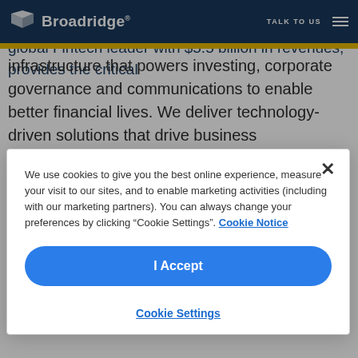Broadridge Financial Solutions (NYSE: BR), a global Fintech leader with $5.5 billion in revenues, provides the critical
infrastructure that powers investing, corporate governance and communications to enable better financial lives. We deliver technology-driven solutions that drive business transformation for banks, broker-dealers, asset and wealth managers and public companies. Broadridge's infrastructure serves as a global communications hub enabling corporate
We use cookies to give you the best online experience, measure your visit to our sites, and to enable marketing activities (including with our marketing partners). You can always change your preferences by clicking “Cookie Settings”. Cookie Notice
I Accept
Cookie Settings